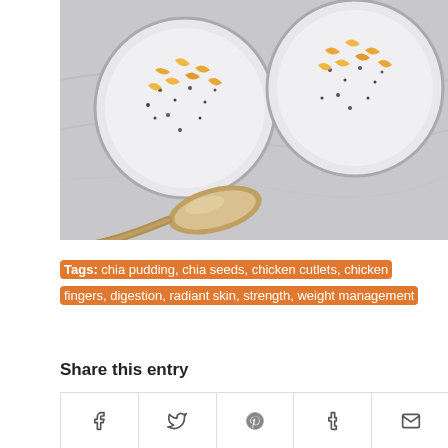[Figure (photo): Overhead view of two glass jars of chia pudding topped with orange zest/corn, with a silver spoon on a marble surface.]
Tags: chia pudding, chia seeds, chicken cutlets, chicken fingers, digestion, radiant skin, strength, weight management
Share this entry
Social share buttons: Facebook, Twitter, Pinterest, Tumblr, Email